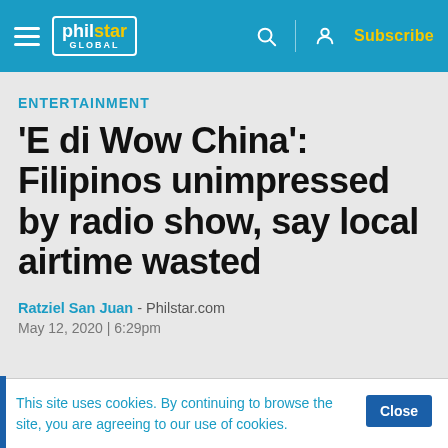philstar GLOBAL | Subscribe
ENTERTAINMENT
'E di Wow China': Filipinos unimpressed by radio show, say local airtime wasted
Ratziel San Juan - Philstar.com
May 12, 2020 | 6:29pm
This site uses cookies. By continuing to browse the site, you are agreeing to our use of cookies.